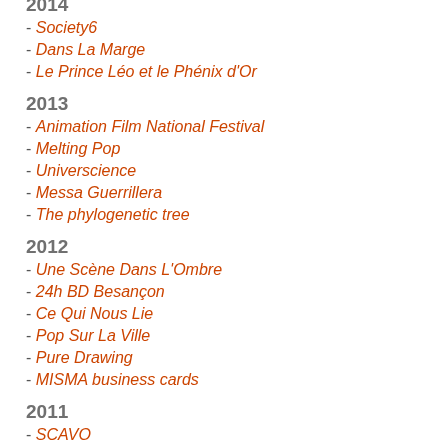2014 (partial, top cut off)
- Society6
- Dans La Marge
- Le Prince Léo et le Phénix d'Or
2013
- Animation Film National Festival
- Melting Pop
- Universcience
- Messa Guerrillera
- The phylogenetic tree
2012
- Une Scène Dans L'Ombre
- 24h BD Besançon
- Ce Qui Nous Lie
- Pop Sur La Ville
- Pure Drawing
- MISMA business cards
2011
- SCAVO
- Melting Pop
2010
- Les As de L'Histoire de France